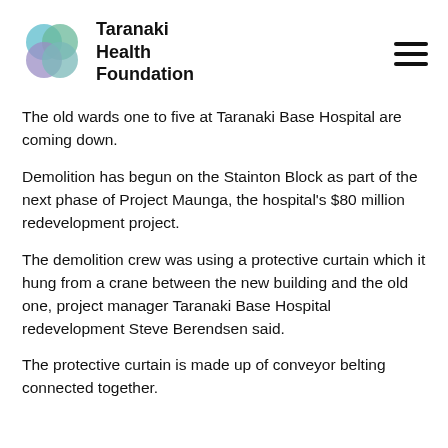Taranaki Health Foundation
The old wards one to five at Taranaki Base Hospital are coming down.
Demolition has begun on the Stainton Block as part of the next phase of Project Maunga, the hospital's $80 million redevelopment project.
The demolition crew was using a protective curtain which it hung from a crane between the new building and the old one, project manager Taranaki Base Hospital redevelopment Steve Berendsen said.
The protective curtain is made up of conveyor belting connected together.